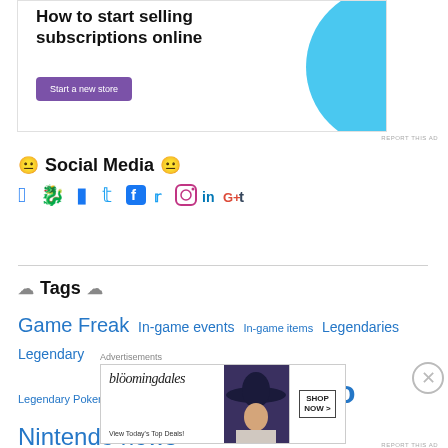[Figure (screenshot): Advertisement banner: 'How to start selling subscriptions online' with 'Start a new store' purple button and blue decorative shape]
😐 Social Media 😐
Social media icons: Facebook, Twitter, Instagram, LinkedIn, Google+, Tumblr
☁ Tags ☁
Game Freak  In-game events  In-game items  Legendaries  Legendary  Legendary Pokemon  Niantic  Nintendo  Nintendo news
[Figure (screenshot): Bloomingdale's advertisement: 'View Today's Top Deals!' with woman in hat, SHOP NOW button]